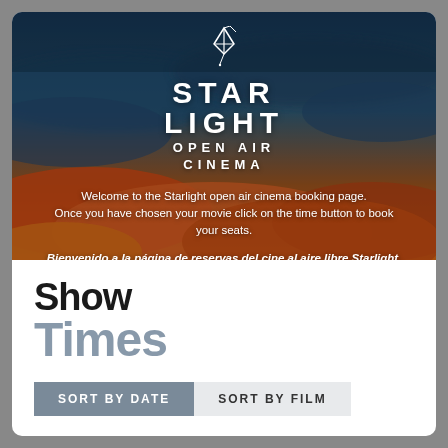[Figure (illustration): Hero banner with dramatic twilight sky background (dark blue and burnt orange clouds). Contains Starlight Open Air Cinema logo (white star/kite icon above text) with white bold text: STAR LIGHT OPEN AIR CINEMA. Below logo: welcome text in English and Spanish.]
Welcome to the Starlight open air cinema booking page. Once you have chosen your movie click on the time button to book your seats.
Bienvenido a la página de reservas del cine al aire libre Starlight. Para reservar sus asientos haga clic en el botón de la hora.
Show Times
SORT BY DATE
SORT BY FILM